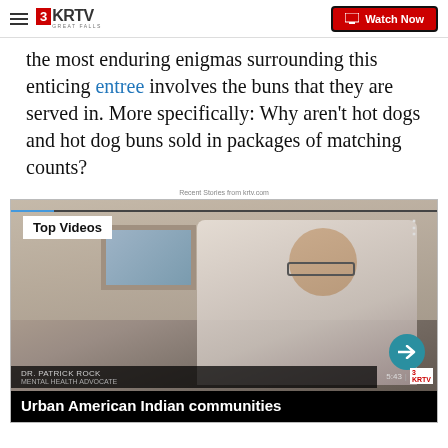3KRTV Great Falls | Watch Now
the most enduring enigmas surrounding this enticing entree involves the buns that they are served in. More specifically: Why aren't hot dogs and hot dog buns sold in packages of matching counts?
Recent Stories from krtv.com
[Figure (screenshot): Video thumbnail showing a man in a white shirt being interviewed, with a 'Top Videos' label overlay, 'DR. PATRICK ROCK' lower third, and bottom headline 'Urban American Indian communities']